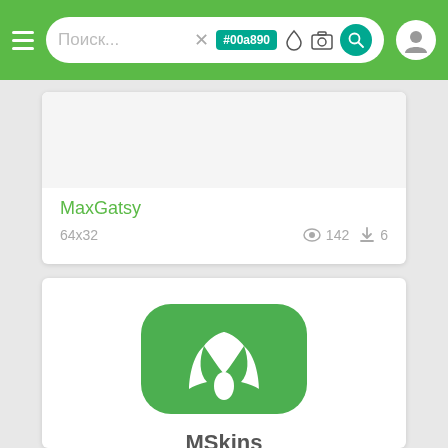[Figure (screenshot): Mobile app search bar with hamburger menu, search field showing placeholder 'Поиск...', X button, teal #00a890 tag, drop icon, camera icon, teal search button, and user profile icon. Green background bar.]
MaxGatsy
64x32
142
6
[Figure (logo): MSkins app icon: green rounded square with white stylized M/water-drop logo]
MSkins
Android App